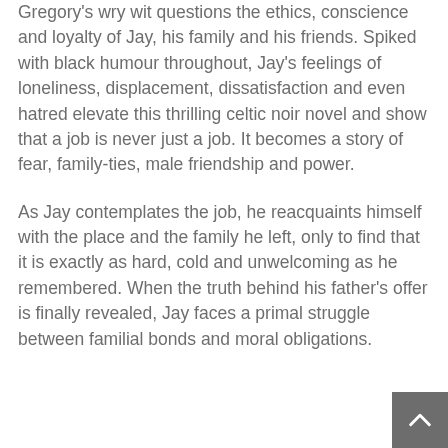Gregory's wry wit questions the ethics, conscience and loyalty of Jay, his family and his friends. Spiked with black humour throughout, Jay's feelings of loneliness, displacement, dissatisfaction and even hatred elevate this thrilling celtic noir novel and show that a job is never just a job. It becomes a story of fear, family-ties, male friendship and power.
As Jay contemplates the job, he reacquaints himself with the place and the family he left, only to find that it is exactly as hard, cold and unwelcoming as he remembered. When the truth behind his father's offer is finally revealed, Jay faces a primal struggle between familial bonds and moral obligations.